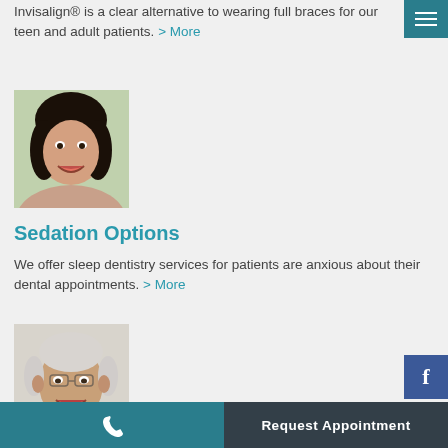Invisalign® is a clear alternative to wearing full braces for our teen and adult patients. > More
[Figure (photo): Young woman smiling, lying down with hands folded, green background]
Sedation Options
We offer sleep dentistry services for patients are anxious about their dental appointments. > More
[Figure (photo): Older man with glasses smiling, white/grey hair]
📞  Request Appointment